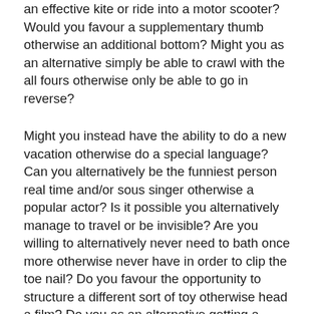an effective kite or ride into a motor scooter? Would you favour a supplementary thumb otherwise an additional bottom? Might you as an alternative simply be able to crawl with the all fours otherwise only be able to go in reverse?
Might you instead have the ability to do a new vacation otherwise do a special language? Can you alternatively be the funniest person real time and/or sous singer otherwise a popular actor? Is it possible you alternatively manage to travel or be invisible? Are you willing to alternatively never need to bath once more otherwise never have in order to clip the toe nail? Do you favour the opportunity to structure a different sort of toy otherwise head a film? Do you as an alternative getting a decade old or several years young? Might you instead be able to control the current weather or provides the ability to correspond with pet? Would you